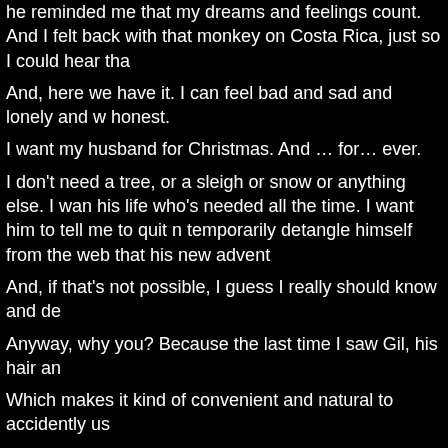he reminded me that my dreams and feelings count. And I felt back with that monkey on Costa Rica, just so I could hear tha
And, here we have it. I can feel bad and sad and lonely and w honest.
I want my husband for Christmas. And … for… ever.
I don't need a tree, or a sleigh or snow or anything else. I wan his life who's needed all the time. I want him to tell me to quit temporarily detangle himself from the web that his new advent
And, if that's not possible, I guess I really should know and de
Anyway, why you? Because the last time I saw Gil, his hair an
Which makes it kind of convenient and natural to accidently us
And hope he understands.
No ultimatums, just the truth. I love you. I miss you beyond all the arms of loved ones and…I'm standing next to Hodges and
If you want me to come to Peru, I will resign and be there by t your work.